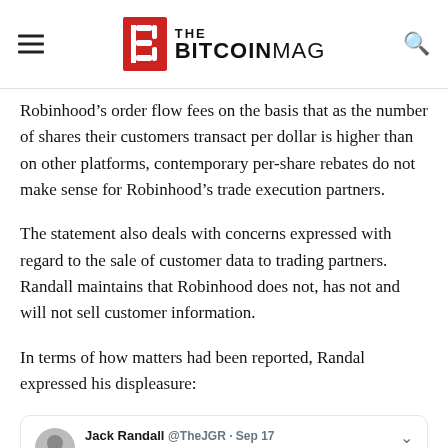THE BITCOINMAG
Robinhood’s order flow fees on the basis that as the number of shares their customers transact per dollar is higher than on other platforms, contemporary per-share rebates do not make sense for Robinhood’s trade execution partners.
The statement also deals with concerns expressed with regard to the sale of customer data to trading partners. Randall maintains that Robinhood does not, has not and will not sell customer information.
In terms of how matters had been reported, Randal expressed his displeasure:
[Figure (screenshot): Embedded tweet from Jack Randall @TheJGR dated Sep 17: 'Sharing our press statement about how Robinhood routes its orders. We shared this with bloggers four days ago but no one corrected or updated their articles...facts, nuance, and following regulation aren't always interesting to cover, unfortunately.']